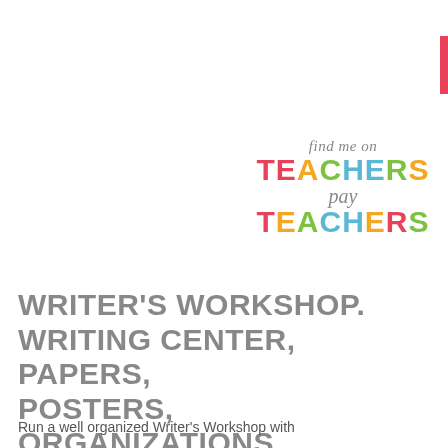[Figure (other): Pink/red 'ADD TO CART' button with shopping cart icon]
[Figure (logo): Teachers Pay Teachers logo with 'find me on' script text above, colorful letter styling]
WRITER'S WORKSHOP. WRITING CENTER, PAPERS, POSTERS, ORGANIZATIONS AND MORE!
Run a well organized Writer's Workshop with